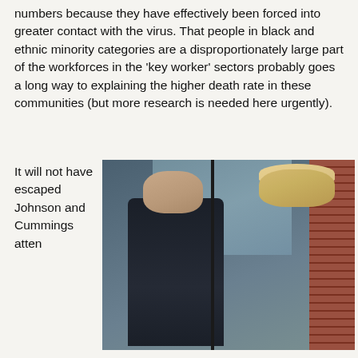numbers because they have effectively been forced into greater contact with the virus. That people in black and ethnic minority categories are a disproportionately large part of the workforces in the 'key worker' sectors probably goes a long way to explaining the higher death rate in these communities (but more research is needed here urgently).
It will not have escaped Johnson and Cummings atten
[Figure (photo): Photograph of two men seen through a doorway or window frame. The man on the left is wearing a dark jacket and has a serious expression. The man on the right has distinctive blond hair, is wearing a light blue shirt and dark tie, and appears to be speaking. A brick wall is visible on the right side.]